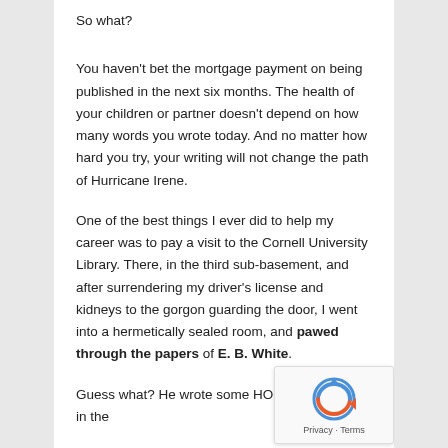So what?
You haven't bet the mortgage payment on being published in the next six months. The health of your children or partner doesn't depend on how many words you wrote today. And no matter how hard you try, your writing will not change the path of Hurricane Irene.
One of the best things I ever did to help my career was to pay a visit to the Cornell University Library. There, in the third sub-basement, and after surrendering my driver's license and kidneys to the gorgon guarding the door, I went into a hermetically sealed room, and pawed through the papers of E. B. White.
Guess what? He wrote some HORRIBLE pages in the